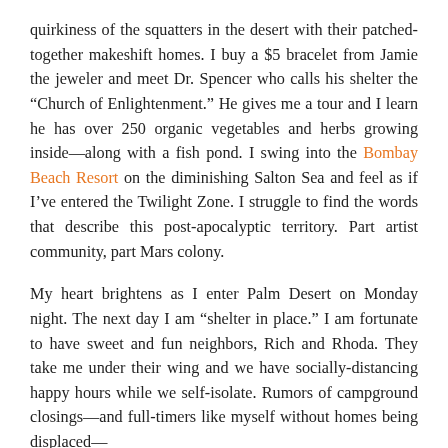quirkiness of the squatters in the desert with their patched-together makeshift homes. I buy a $5 bracelet from Jamie the jeweler and meet Dr. Spencer who calls his shelter the “Church of Enlightenment.” He gives me a tour and I learn he has over 250 organic vegetables and herbs growing inside—along with a fish pond. I swing into the Bombay Beach Resort on the diminishing Salton Sea and feel as if I’ve entered the Twilight Zone. I struggle to find the words that describe this post-apocalyptic territory. Part artist community, part Mars colony.
My heart brightens as I enter Palm Desert on Monday night. The next day I am “shelter in place.” I am fortunate to have sweet and fun neighbors, Rich and Rhoda. They take me under their wing and we have socially-distancing happy hours while we self-isolate. Rumors of campground closings—and full-timers like myself without homes being displaced—